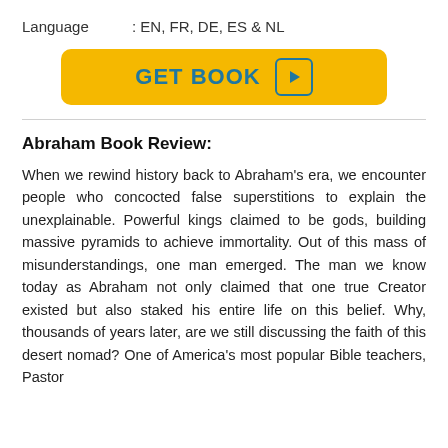Language : EN, FR, DE, ES & NL
[Figure (other): Golden 'GET BOOK' button with play icon]
Abraham Book Review:
When we rewind history back to Abraham's era, we encounter people who concocted false superstitions to explain the unexplainable. Powerful kings claimed to be gods, building massive pyramids to achieve immortality. Out of this mass of misunderstandings, one man emerged. The man we know today as Abraham not only claimed that one true Creator existed but also staked his entire life on this belief. Why, thousands of years later, are we still discussing the faith of this desert nomad? One of America's most popular Bible teachers, Pastor